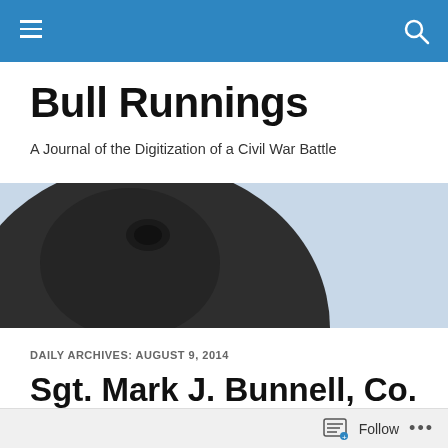Bull Runnings — navigation header bar with menu and search icons
Bull Runnings
A Journal of the Digitization of a Civil War Battle
[Figure (photo): Black and white/dark toned photograph of Civil War monument statues — a horse head on the left and a soldier figure on the right, against a light blue-grey sky background.]
DAILY ARCHIVES: AUGUST 9, 2014
Sgt. Mark J. Bunnell, Co. B, 13th New York Infantry, On the Battle
Follow ...